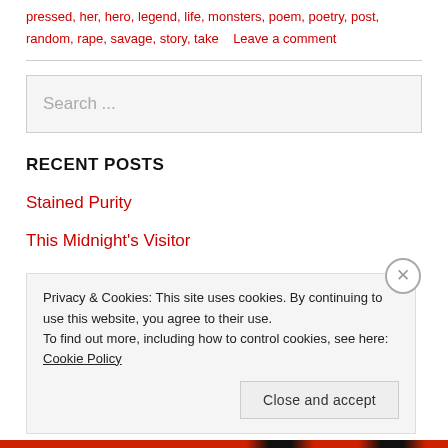pressed, her, hero, legend, life, monsters, poem, poetry, post, random, rape, savage, story, take   Leave a comment
[Figure (screenshot): Search input box with placeholder text 'Search ...' on light grey background]
RECENT POSTS
Stained Purity
This Midnight's Visitor
Privacy & Cookies: This site uses cookies. By continuing to use this website, you agree to their use. To find out more, including how to control cookies, see here: Cookie Policy
Close and accept